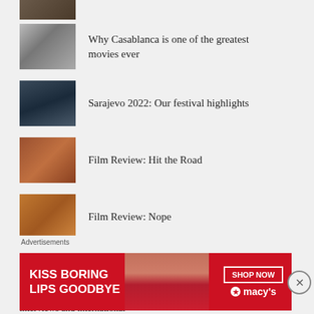[Figure (photo): Thumbnail image cropped at top — partial view]
Why Casablanca is one of the greatest movies ever
Sarajevo 2022: Our festival highlights
Film Review: Hit the Road
Film Review: Nope
ABOUT
Founded in 2010, CineVue's team of passionate cinéastes are working to bring you reviews of the latest cinema releases, as well as features, interviews and international
Advertisements
[Figure (photo): Macy's advertisement banner: 'KISS BORING LIPS GOODBYE' with SHOP NOW button and Macy's star logo]